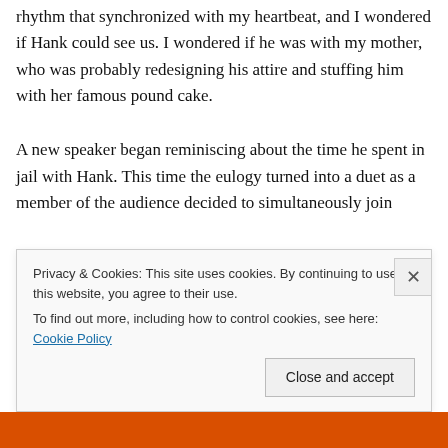rhythm that synchronized with my heartbeat, and I wondered if Hank could see us. I wondered if he was with my mother, who was probably redesigning his attire and stuffing him with her famous pound cake.
A new speaker began reminiscing about the time he spent in jail with Hank. This time the eulogy turned into a duet as a member of the audience decided to simultaneously join the...
Privacy & Cookies: This site uses cookies. By continuing to use this website, you agree to their use.
To find out more, including how to control cookies, see here: Cookie Policy